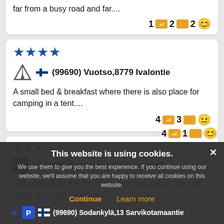far from a busy road and far....
1 [photo] 2 [comment] 2 [smile]
★★★★ (99690) Vuotso,8779 Ivalontie
A small bed & breakfast where there is also place for camping in a tent....
4 [photo] 3 [comment] [smile-gray]
★★★ (99690) Vuotso,8756 Ivalontie
Flat parking by the river with nice view below the road. Road close but very quiet....
4 [photo] 1 [comment] [smile]
★ (99690) Sodankylä,13 Sarvikotamaantie
This website is using cookies. We use them to give you the best experience. If you continue using our website, we'll assume that you are happy to receive all cookies on this website.
Continue | Learn more